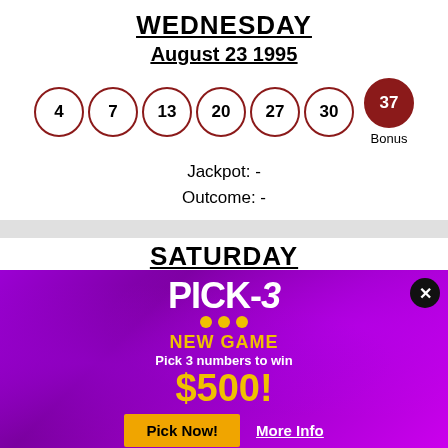WEDNESDAY
August 23 1995
[Figure (infographic): Lottery balls showing numbers 4, 7, 13, 20, 27, 30 with bonus ball 37]
Jackpot: -
Outcome: -
SATURDAY (partial)
[Figure (infographic): Pick-3 lottery advertisement overlay on purple gradient background. Shows PICK-3 logo, NEW GAME text, Pick 3 numbers to win, $500! prize, Pick Now! button and More Info link. Close button (x) in top right.]